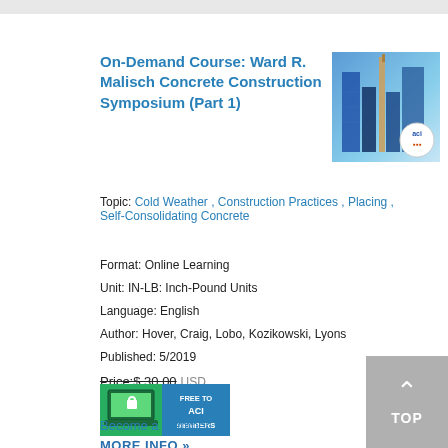On-Demand Course: Ward R. Malisch Concrete Construction Symposium (Part 1)
[Figure (photo): Thumbnail image of concrete construction with tall structures against blue sky, with ACI logo badge]
Topic: Cold Weather , Construction Practices , Placing , Self-Consolidating Concrete
Format: Online Learning
Unit: IN-LB: Inch-Pound Units
Language: English
Author: Hover, Craig, Lobo, Kozikowski, Lyons
Published: 5/2019
Price:$ 30.00 USD
[Figure (illustration): Free to ACI Members badge with laptop icon]
Become a Member
MORE INFO »